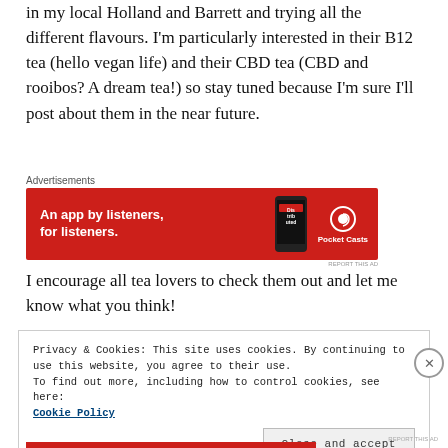in my local Holland and Barrett and trying all the different flavours. I'm particularly interested in their B12 tea (hello vegan life) and their CBD tea (CBD and rooibos? A dream tea!) so stay tuned because I'm sure I'll post about them in the near future.
[Figure (other): Pocket Casts advertisement banner: red background with text 'An app by listeners, for listeners.' and Pocket Casts logo with podcast app graphic]
I encourage all tea lovers to check them out and let me know what you think!
Privacy & Cookies: This site uses cookies. By continuing to use this website, you agree to their use.
To find out more, including how to control cookies, see here:
Cookie Policy
Close and accept